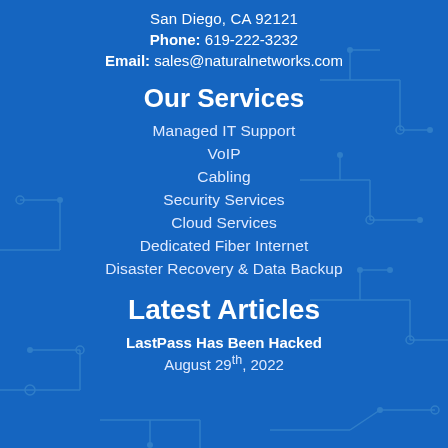San Diego, CA 92121
Phone: 619-222-3232
Email: sales@naturalnetworks.com
Our Services
Managed IT Support
VoIP
Cabling
Security Services
Cloud Services
Dedicated Fiber Internet
Disaster Recovery & Data Backup
Latest Articles
LastPass Has Been Hacked
August 29th, 2022